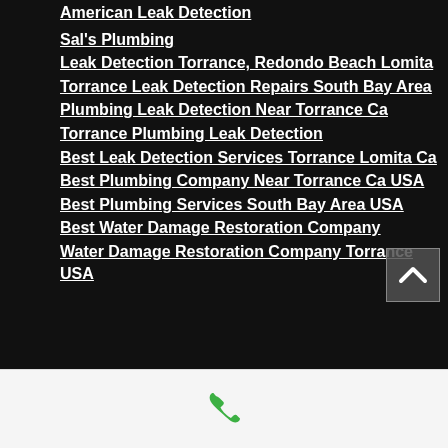American Leak Detection (partial, top)
Sal's Plumbing
Leak Detection Torrance, Redondo Beach Lomita
Torrance Leak Detection Repairs South Bay Area
Plumbing Leak Detection Near Torrance Ca
Torrance Plumbing Leak Detection
Best Leak Detection Services Torrance Lomita Ca
Best Plumbing Company Near Torrance Ca USA
Best Plumbing Services South Bay Area USA
Best Water Damage Restoration Company
Water Damage Restoration Company Torrance USA
[Figure (other): Phone call icon (green handset) in white footer bar at bottom of page]